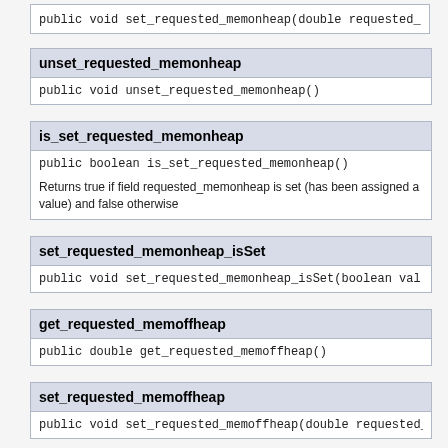public void set_requested_memonheap(double requested_...
unset_requested_memonheap
public void unset_requested_memonheap()
is_set_requested_memonheap
public boolean is_set_requested_memonheap()
Returns true if field requested_memonheap is set (has been assigned a value) and false otherwise
set_requested_memonheap_isSet
public void set_requested_memonheap_isSet(boolean val...
get_requested_memoffheap
public double get_requested_memoffheap()
set_requested_memoffheap
public void set_requested_memoffheap(double requested_...